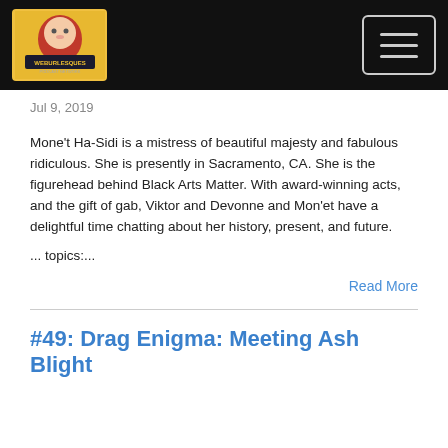WeBurlesques Podcast Network [logo] [hamburger menu]
Jul 9, 2019
Mone't Ha-Sidi is a mistress of beautiful majesty and fabulous ridiculous. She is presently in Sacramento, CA. She is the figurehead behind Black Arts Matter. With award-winning acts, and the gift of gab, Viktor and Devonne and Mon'et have a delightful time chatting about her history, present, and future.
... topics:...
Read More
#49: Drag Enigma: Meeting Ash Blight